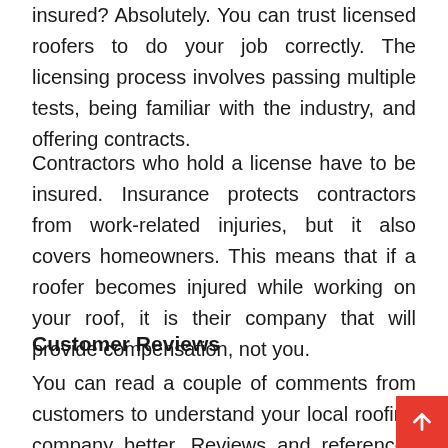insured? Absolutely. You can trust licensed roofers to do your job correctly. The licensing process involves passing multiple tests, being familiar with the industry, and offering contracts.
Contractors who hold a license have to be insured. Insurance protects contractors from work-related injuries, but it also covers homeowners. This means that if a roofer becomes injured while working on your roof, it is their company that will provide compensation, not you.
Customer Reviews
You can read a couple of comments from customers to understand your local roofing company better. Reviews and references are great sources of